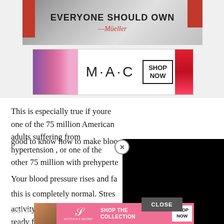[Figure (photo): Top portion of banner ad: 'EVERYONE SHOULD OWN' with Mueller attribution and red corner accents]
[Figure (photo): MAC Cosmetics banner ad with colorful lipsticks on left and right, MAC logo in center, and SHOP NOW button]
This is especially true if youre one of the 75 million American adults suffering from hypertension , or one of the other 75 million with prehypertension. When you about it, it's good to know how to make blood
[Figure (photo): Black video player overlay covering part of the article text, with X close button]
Your blood pressure rises and falls throughout the day, and this is completely normal. Stress activity can all lead to increases, while relaxation, getting ready for bed, and sleep can all bring it back down.
But no t stays at a hi
[Figure (photo): Victoria's Secret banner ad with pink background, VS logo, SHOP THE COLLECTION text, SHOP NOW button, and model photo]